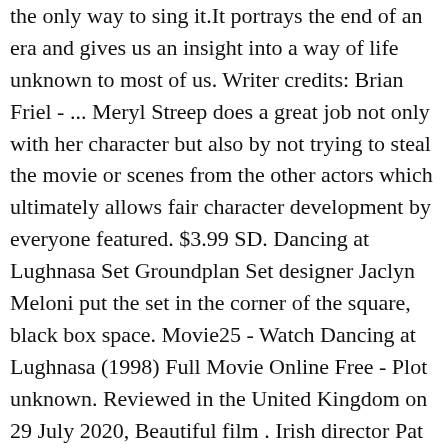the only way to sing it.It portrays the end of an era and gives us an insight into a way of life unknown to most of us. Writer credits: Brian Friel - ... Meryl Streep does a great job not only with her character but also by not trying to steal the movie or scenes from the other actors which ultimately allows fair character development by everyone featured. $3.99 SD. Dancing at Lughnasa Set Groundplan Set designer Jaclyn Meloni put the set in the corner of the square, black box space. Movie25 - Watch Dancing at Lughnasa (1998) Full Movie Online Free - Plot unknown. Reviewed in the United Kingdom on 29 July 2020, Beautiful film . Irish director Pat O'Connor helmed this adaptation of Brian Friel's 1990 play which won three Tony awards in addition to UK Olivier and Evening Standard awards. Disappointing to note that once again, the focus seems